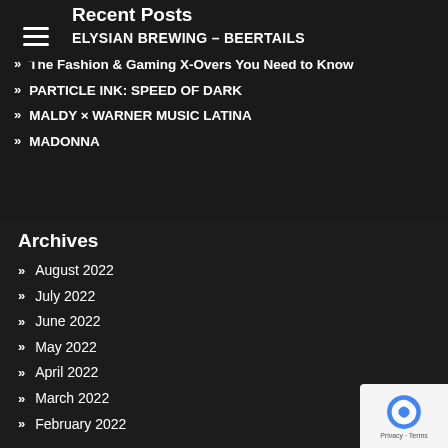Recent Posts
ELYSIAN BREWING – BEERTAILS
The Fashion & Gaming X-Overs You Need to Know
PARTICLE INK: SPEED OF DARK
MALDY × WARNER MUSIC LATINA
MADONNA
Archives
August 2022
July 2022
June 2022
May 2022
April 2022
March 2022
February 2022
January 2022